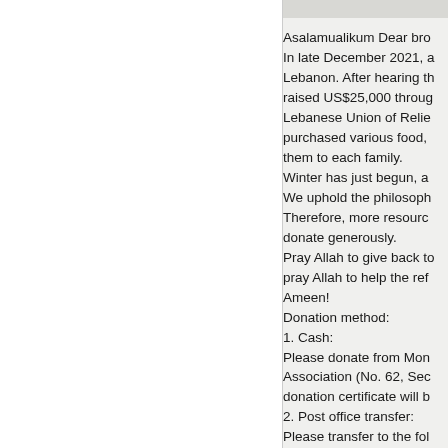Asalamualikum Dear bro In late December 2021, a Lebanon. After hearing th raised US$25,000 throug Lebanese Union of Relie purchased various food, them to each family. Winter has just begun, a We uphold the philosoph Therefore, more resourc donate generously. Pray Allah to give back t pray Allah to help the ref Ameen! Donation method: 1. Cash: Please donate from Mon Association (No. 62, Sec donation certificate will b 2. Post office transfer: Please transfer to the fol Account name: China Mu